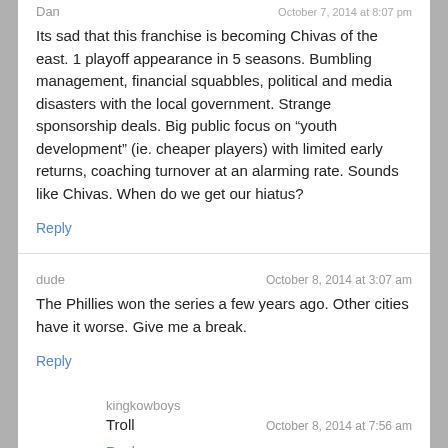Dan
October 7, 2014 at 8:07 pm
Its sad that this franchise is becoming Chivas of the east. 1 playoff appearance in 5 seasons. Bumbling management, financial squabbles, political and media disasters with the local government. Strange sponsorship deals. Big public focus on “youth development” (ie. cheaper players) with limited early returns, coaching turnover at an alarming rate. Sounds like Chivas. When do we get our hiatus?
Reply
dude
October 8, 2014 at 3:07 am
The Phillies won the series a few years ago. Other cities have it worse. Give me a break.
Reply
kingkowboys
Troll
October 8, 2014 at 7:56 am
Reply